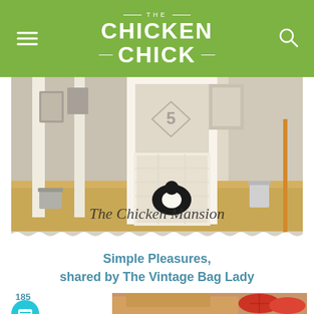THE CHICKEN CHICK
[Figure (photo): Interior of a chicken coop called 'The Chicken Mansion' — white-painted wooden door with wire mesh fencing, straw bedding on the floor, a black-and-white chicken visible through the gate, a metal bucket and broom handle to the right. Decorative number '5' on the wall. Cursive text overlay reads 'The Chicken Mansion'. Bottom has a scalloped white border.]
Simple Pleasures, shared by The Vintage Bag Lady
[Figure (photo): Close-up of food — appears to be macaroni/pasta with tomato slices, partial view at the bottom of the page.]